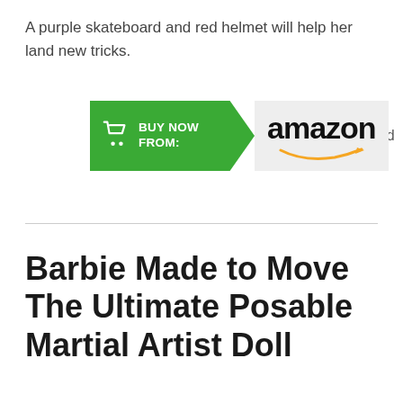A purple skateboard and red helmet will help her land new tricks.
[Figure (other): Amazon 'Buy Now From' button with shopping cart icon on green arrow background and Amazon logo with smile on grey background, followed by #ad label]
Barbie Made to Move The Ultimate Posable Martial Artist Doll